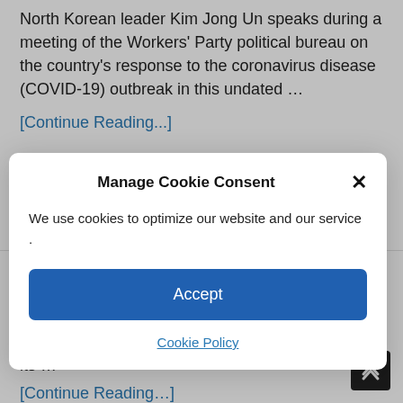North Korean leader Kim Jong Un speaks during a meeting of the Workers' Party political bureau on the country's response to the coronavirus disease (COVID-19) outbreak in this undated …
[Continue Reading...]
Manage Cookie Consent
We use cookies to optimize our website and our service .
Accept
Cookie Policy
BEIJING/SHANGHAI, Aug 7 (Reuters) – When Chinese businesswoman Yang Jing was planning this year's summer vacation in 2021, she chose the tropical southern island of Hainan because of its …
[Continue Reading…]